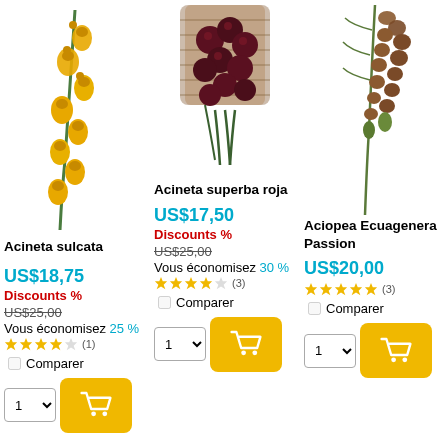[Figure (photo): Yellow flower (Acineta sulcata) hanging branch with small yellow bell-shaped blooms]
Acineta sulcata
US$18,75
Discounts %
US$25,00
Vous économisez 25 %
[Figure (photo): Dark red/purple flower cluster (Acineta superba roja) with background texture]
Acineta superba roja
US$17,50
Discounts %
US$25,00
Vous économisez 30 %
[Figure (photo): Brown/orange flower cluster (Aciopea Ecuagenera Passion) hanging branch]
Aciopea Ecuagenera Passion
US$20,00